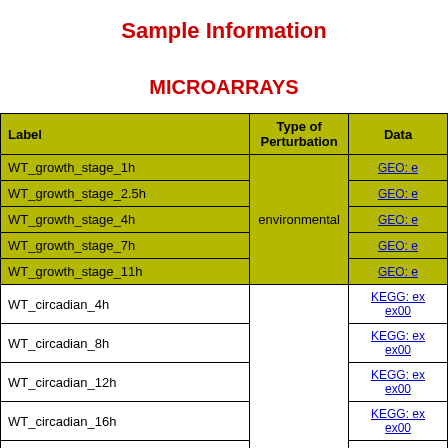Sample Information
MICROARRAYS
| Label | Type of Perturbation | Data |
| --- | --- | --- |
| WT_growth_stage_1h | environmental | GEO: e |
| WT_growth_stage_2.5h | environmental | GEO: e |
| WT_growth_stage_4h | environmental | GEO: e |
| WT_growth_stage_7h | environmental | GEO: e |
| WT_growth_stage_11h | environmental | GEO: e |
| WT_circadian_4h |  | KEGG: ex ex00 |
| WT_circadian_8h |  | KEGG: ex ex00 |
| WT_circadian_12h |  | KEGG: ex ex00 |
| WT_circadian_16h |  | KEGG: ex ex00 |
| WT_circadian_20h |  | KEGG: ex |